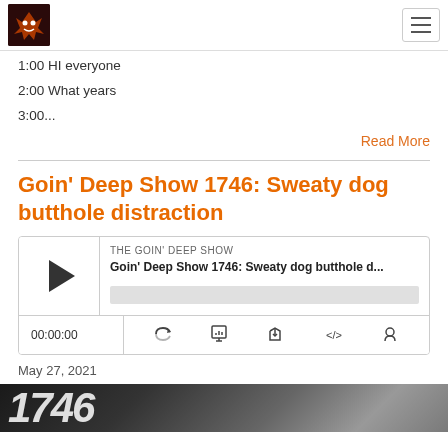The Goin' Deep Show logo and navigation
1:00 HI everyone
2:00 What years
3:00...
Read More
Goin' Deep Show 1746: Sweaty dog butthole distraction
[Figure (screenshot): Audio player widget showing THE GOIN' DEEP SHOW, episode title Goin' Deep Show 1746: Sweaty dog butthole d..., with play button, progress bar, time 00:00:00, and playback control icons]
May 27, 2021
[Figure (photo): Partial image showing stylized episode number text, dark background with colorful elements]